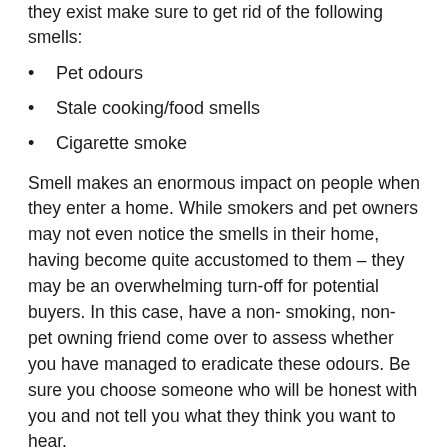they exist make sure to get rid of the following smells:
Pet odours
Stale cooking/food smells
Cigarette smoke
Smell makes an enormous impact on people when they enter a home. While smokers and pet owners may not even notice the smells in their home, having become quite accustomed to them – they may be an overwhelming turn-off for potential buyers. In this case, have a non- smoking, non-pet owning friend come over to assess whether you have managed to eradicate these odours. Be sure you choose someone who will be honest with you and not tell you what they think you want to hear.